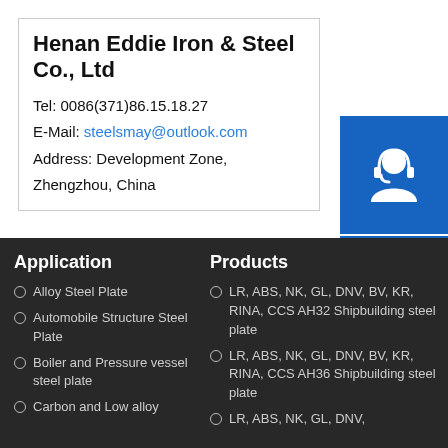Henan Eddie Iron & Steel Co., Ltd
Tel: 0086(371)86.15.18.27
E-Mail: steelsmay@outlook.com
Address: Development Zone, Zhengzhou, China
[Figure (illustration): Blue square button with white customer support headset icon]
[Figure (illustration): Blue square button with white phone/call icon with signal waves]
[Figure (illustration): Blue square button with white Skype logo icon]
Application
Alloy Steel Plate
Automobile Structure Steel Plate
Boiler and Pressure vessel steel plate
Carbon and Low alloy
Products
LR, ABS, NK, GL, DNV, BV, KR, RINA, CCS AH32 Shipbuilding steel plate
LR, ABS, NK, GL, DNV, BV, KR, RINA, CCS AH36 Shipbuilding steel plate
LR, ABS, NK, GL, DNV,